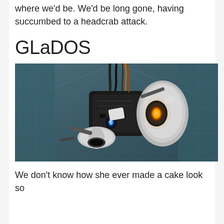where we'd be. We'd be long gone, having succumbed to a headcrab attack.
GLaDOS
[Figure (photo): GLaDOS from the video game Portal — a robotic AI core with mechanical arms, cables, a yellow glowing eye, and white panels, photographed from below looking up in a tiled chamber.]
We don't know how she ever made a cake look so